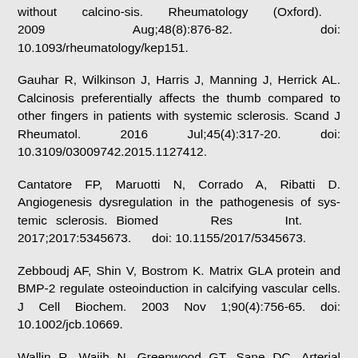without calcino-sis. Rheumatology (Oxford). 2009 Aug;48(8):876-82. doi: 10.1093/rheumatology/kep151.
Gauhar R, Wilkinson J, Harris J, Manning J, Herrick AL. Calcinosis preferentially affects the thumb compared to other fingers in patients with systemic sclerosis. Scand J Rheumatol. 2016 Jul;45(4):317-20. doi: 10.3109/03009742.2015.1127412.
Cantatore FP, Maruotti N, Corrado A, Ribatti D. Angiogenesis dysregulation in the pathogenesis of sys-temic sclerosis. Biomed Res Int. 2017;2017:5345673. doi: 10.1155/2017/5345673.
Zebboudj AF, Shin V, Bostrom K. Matrix GLA protein and BMP-2 regulate osteoinduction in calcifying vascular cells. J Cell Biochem. 2003 Nov 1;90(4):756-65. doi: 10.1002/jcb.10669.
Wallin R, Wajih N, Greenwood GT, Sane DC. Arterial calcification: a review of mechanisms, animal models, and the